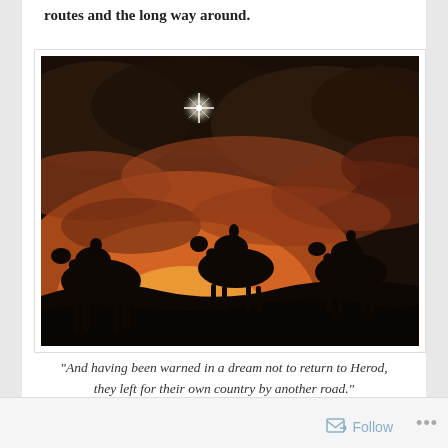routes and the long way around.
[Figure (photo): Silhouette of three wise men riding camels across a desert landscape at sunset/dusk, with dramatic orange and dark cloudy sky and a bright star shining in the upper portion of the image.]
“And having been warned in a dream not to return to Herod, they left for their own country by another road.”